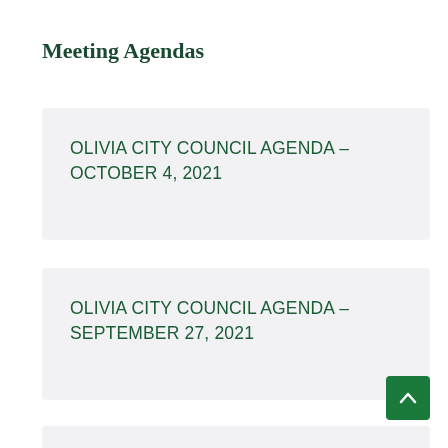Meeting Agendas
OLIVIA CITY COUNCIL AGENDA – OCTOBER 4, 2021
OLIVIA CITY COUNCIL AGENDA – SEPTEMBER 27, 2021
OLIVIA CITY COUNCIL AGENDA – SEPTEMBER 20, 2021